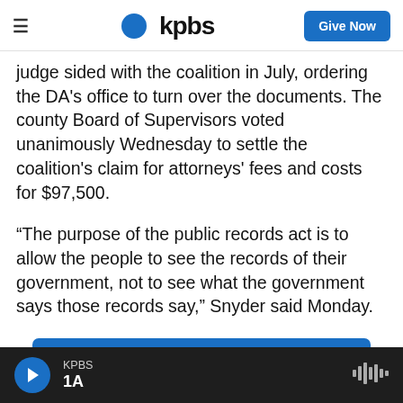kpbs | Give Now
judge sided with the coalition in July, ordering the DA's office to turn over the documents. The county Board of Supervisors voted unanimously Wednesday to settle the coalition's claim for attorneys' fees and costs for $97,500.
“The purpose of the public records act is to allow the people to see the records of their government, not to see what the government says those records say,” Snyder said Monday.
[Figure (infographic): KPBS app advertisement banner: blue background with KPBS logo box, text 'Tap into KPBS in one place.' and 'Download the KPBS app now.']
KPBS 1A — player bar with play button and waveform icon